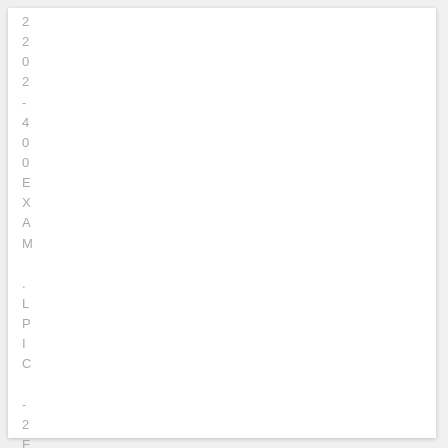2 2 0 2 - 4 0 0 E X A M . L P I C - 2 E X A M 2 0 2 2 0 2 .